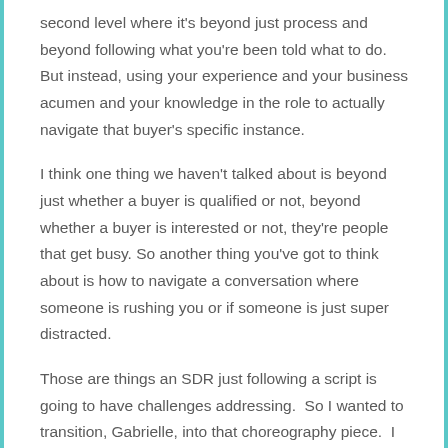second level where it's beyond just process and beyond following what you're been told what to do. But instead, using your experience and your business acumen and your knowledge in the role to actually navigate that buyer's specific instance.
I think one thing we haven't talked about is beyond just whether a buyer is qualified or not, beyond whether a buyer is interested or not, they're people that get busy. So another thing you've got to think about is how to navigate a conversation where someone is rushing you or if someone is just super distracted.
Those are things an SDR just following a script is going to have challenges addressing.  So I wanted to transition, Gabrielle, into that choreography piece.  I want to go beyond just following the script and really understanding how do you and your reps prepare for cold calling and